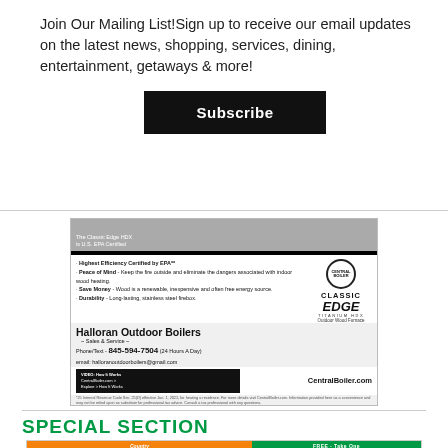Join Our Mailing List!Sign up to receive our email updates on the latest news, shopping, services, dining, entertainment, getaways & more!
Subscribe
[Figure (illustration): Halloran Outdoor Boilers advertisement for Classic Edge Titanium HDX Outdoor Wood Furnace by Central Boiler. Features bullet points about Highest Efficiency Certified by EPA, Peace of Mind, Save Money, Durability. Contact: Phone/Text 845-594-7504, email: halloranoutdoorboilers@gmail.com. Website: CentralBoiler.com]
SPECIAL SECTION
[Figure (illustration): Partial view of a Country publication card showing FREE - Take One banner in orange and white]